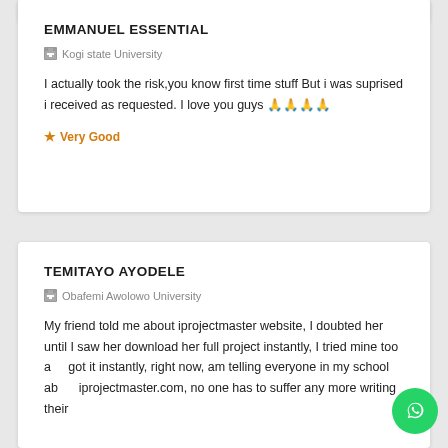EMMANUEL ESSENTIAL
Kogi state University
I actually took the risk,you know first time stuff But i was suprised i received as requested. I love you guys 🙏🙏🙏🙏
★ Very Good
TEMITAYO AYODELE
Obafemi Awolowo University
My friend told me about iprojectmaster website, I doubted her until I saw her download her full project instantly, I tried mine too and got it instantly, right now, am telling everyone in my school about iprojectmaster.com, no one has to suffer any more writing their project. The time of writing is like a forever and the...